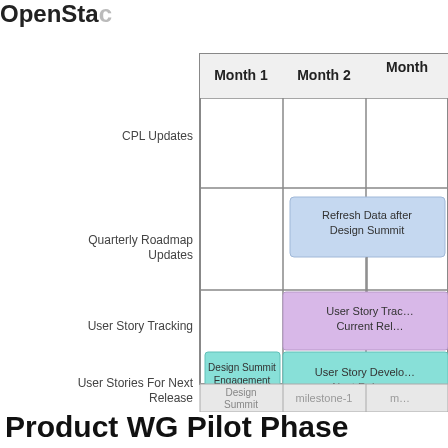OpenSta…
[Figure (flowchart): OpenStack roadmap Gantt-style timeline chart showing activities across Month 1, Month 2, Month 3+. Rows: CPL Updates, Quarterly Roadmap Updates (with 'Refresh Data after Design Summit' box in Month 2), User Story Tracking (with 'User Story Tracking Current Rel…' box spanning Month 2-3), User Stories For Next Release (with 'Design Summit Engagement (Cont'd 2/2)' in Month 1 and 'User Story Devel… Next Relea…' in Month 2-3). Bottom row shows milestones: Design Summit, milestone-1, m…]
Product WG Pilot Phase